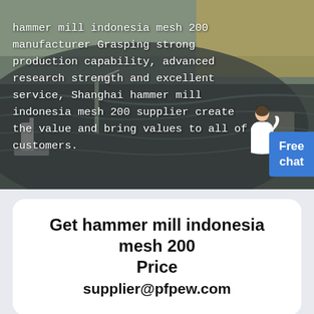[Figure (photo): Aerial view of a mining/quarry site with heavy machinery and excavated terrain, serving as a hero banner background image.]
hammer mill indonesia mesh 200 manufacturer Grasping strong production capability, advanced research strength and excellent service, Shanghai hammer mill indonesia mesh 200 supplier create the value and bring values to all of customers.
Free chat
Get hammer mill indonesia mesh 200 Price
supplier@pfpew.com
Online Chat   Sales Hotline